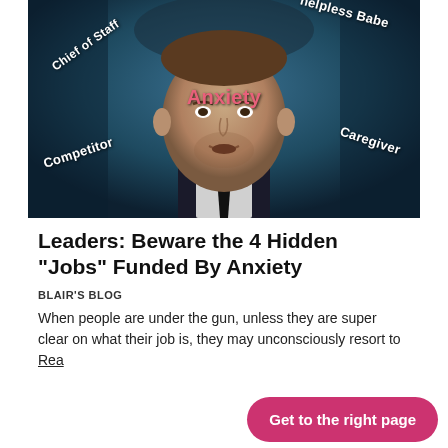[Figure (photo): Photo of a man in a suit and tie with a blue/dark background, overlaid with labeled text annotations: 'Chief of Staff', 'Helpless Babe', 'Anxiety' (in pink), 'Competitor', 'Caregiver']
Leaders: Beware the 4 Hidden “Jobs” Funded By Anxiety
BLAIR'S BLOG
When people are under the gun, unless they are super clear on what their job is, they may unconsciously resort to Rea...
Get to the right page